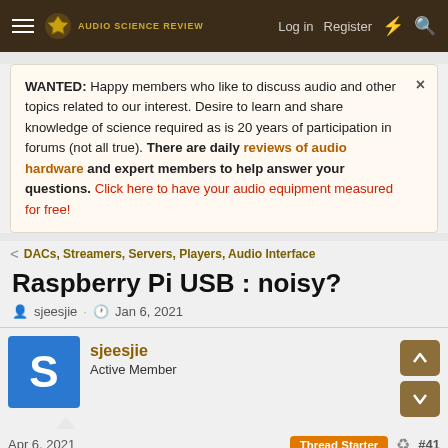Audio Science Review — Log in  Register
WANTED: Happy members who like to discuss audio and other topics related to our interest. Desire to learn and share knowledge of science required as is 20 years of participation in forums (not all true). There are daily reviews of audio hardware and expert members to help answer your questions. Click here to have your audio equipment measured for free!
< DACs, Streamers, Servers, Players, Audio Interface
Raspberry Pi USB : noisy?
sjeesjie · Jan 6, 2021
sjeesjie
Active Member
Apr 6, 2021
Thread Starter
#41